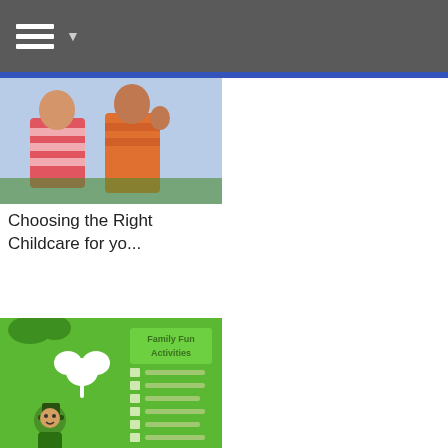Navigation menu
[Figure (photo): Children playing outdoors, one wearing a striped shirt]
Choosing the Right Childcare for yo...
[Figure (illustration): Green St. Patrick's Day themed checklist graphic with shamrocks and a leprechaun, titled 'Family Fun Activities']
March Bucket List: 13 Family Fun A...
[Figure (photo): Sailing the Seas for the Purple and Green tour event graphic, Aug 15 to Sep 21]